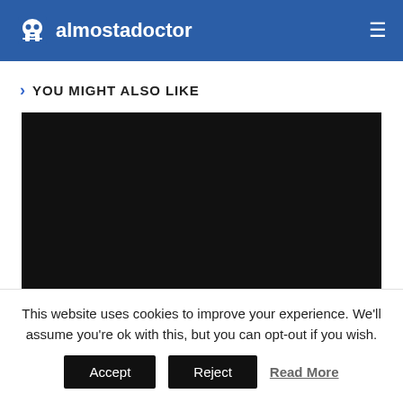almostadoctor
YOU MIGHT ALSO LIKE
[Figure (photo): Black/dark rectangular image placeholder]
This website uses cookies to improve your experience. We'll assume you're ok with this, but you can opt-out if you wish.
Accept | Reject | Read More